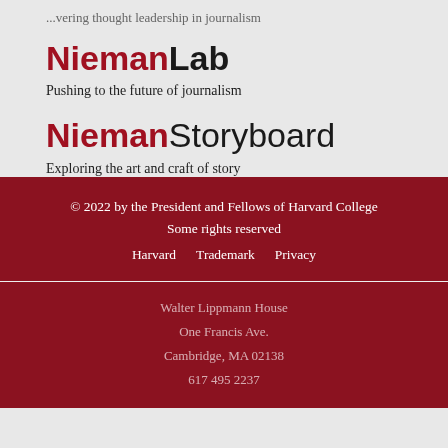...vering thought leadership in journalism
NiemanLab
Pushing to the future of journalism
NiemanStoryboard
Exploring the art and craft of story
© 2022 by the President and Fellows of Harvard College
Some rights reserved
Harvard   Trademark   Privacy
Walter Lippmann House
One Francis Ave.
Cambridge, MA 02138
617 495 2237